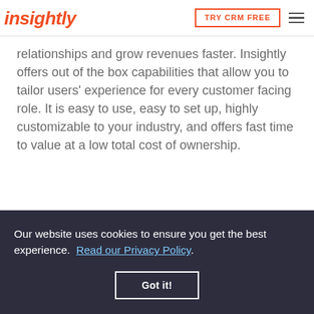insightly  TRY CRM FREE
relationships and grow revenues faster. Insightly offers out of the box capabilities that allow you to tailor users' experience for every customer facing role. It is easy to use, easy to set up, highly customizable to your industry, and offers fast time to value at a low total cost of ownership.
Our website uses cookies to ensure you get the best experience.  Read our Privacy Policy
Got it!